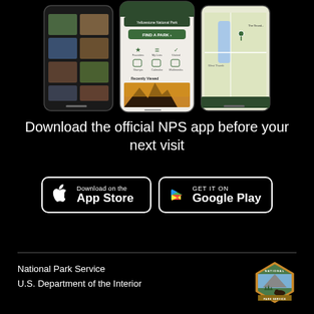[Figure (screenshot): Three smartphone screens showing the NPS (National Park Service) mobile app interface — left screen shows park photos grid, center screen shows app menu with Find a Park button and navigation icons, right screen shows a map view.]
Download the official NPS app before your next visit
[Figure (logo): Apple App Store download button — black background with white border, Apple logo icon and text 'Download on the App Store']
[Figure (logo): Google Play store button — black background with white border, Google Play triangle logo icon and text 'GET IT ON Google Play']
National Park Service
U.S. Department of the Interior
[Figure (logo): National Park Service arrowhead logo badge — circular badge with brown/orange border showing tree, mountain and bison silhouettes with 'NATIONAL PARK SERVICE' text]